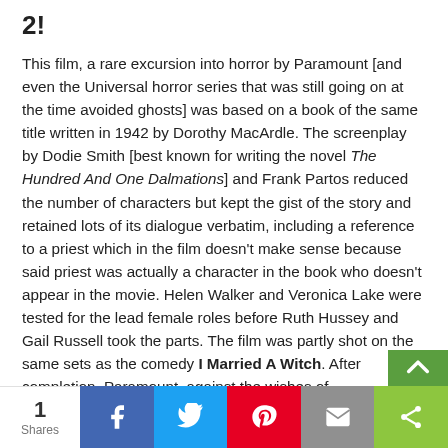2!
This film, a rare excursion into horror by Paramount [and even the Universal horror series that was still going on at the time avoided ghosts] was based on a book of the same title written in 1942 by Dorothy MacArdle. The screenplay by Dodie Smith [best known for writing the novel The Hundred And One Dalmations] and Frank Partos reduced the number of characters but kept the gist of the story and retained lots of its dialogue verbatim, including a reference to a priest which in the film doesn't make sense because said priest was actually a character in the book who doesn't appear in the movie. Helen Walker and Veronica Lake were tested for the lead female roles before Ruth Hussey and Gail Russell took the parts. The film was partly shot on the same sets as the comedy I Married A Witch. After completion, Paramount, against the wishes of
1 Shares